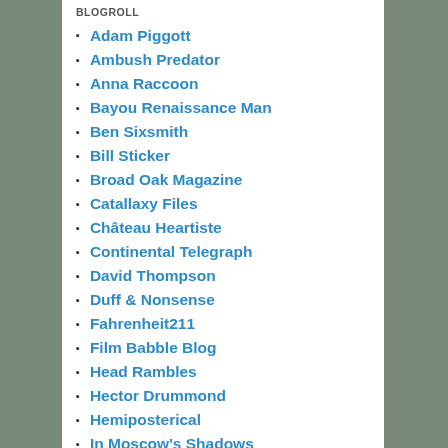BLOGROLL
Adam Piggott
Ambush Predator
Anna Raccoon
Bayou Renaissance Man
Ben Sixsmith
Bill Sticker
Broad Oak Magazine
Catallaxy Files
Château Heartiste
Continental Telegraph
David Thompson
Duff & Nonsense
Fahrenheit211
Film Babble Blog
Head Rambles
Hector Drummond
Hemiposterical
In Moscow's Shadows
Instapundit
L'Ombre de l'Olivier
Longrider